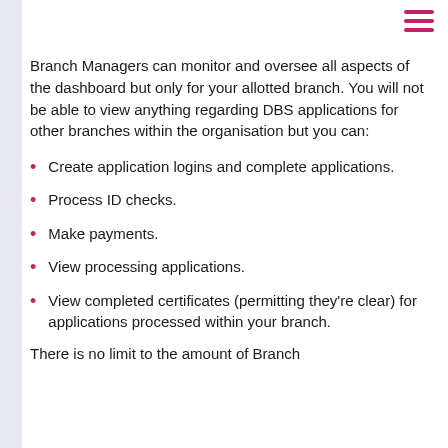[Figure (other): Hamburger menu icon (three horizontal pink/magenta lines) in top right corner]
Branch Managers can monitor and oversee all aspects of the dashboard but only for your allotted branch. You will not be able to view anything regarding DBS applications for other branches within the organisation but you can:
Create application logins and complete applications.
Process ID checks.
Make payments.
View processing applications.
View completed certificates (permitting they're clear) for applications processed within your branch.
There is no limit to the amount of Branch